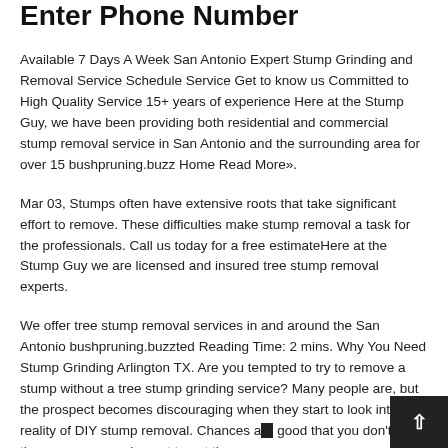Enter Phone Number
Available 7 Days A Week San Antonio Expert Stump Grinding and Removal Service Schedule Service Get to know us Committed to High Quality Service 15+ years of experience Here at the Stump Guy, we have been providing both residential and commercial stump removal service in San Antonio and the surrounding area for over 15 bushpruning.buzz Home Read More».
Mar 03, Stumps often have extensive roots that take significant effort to remove. These difficulties make stump removal a task for the professionals. Call us today for a free estimateHere at the Stump Guy we are licensed and insured tree stump removal experts.
We offer tree stump removal services in and around the San Antonio bushpruning.buzzted Reading Time: 2 mins. Why You Need Stump Grinding Arlington TX. Are you tempted to try to remove a stump without a tree stump grinding service? Many people are, but the prospect becomes discouraging when they start to look into the reality of DIY stump removal. Chances are good that you don't have the necessary equipment to get the